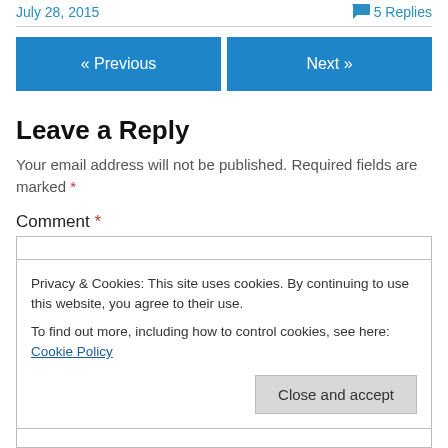July 28, 2015   💬 5 Replies
« Previous   Next »
Leave a Reply
Your email address will not be published. Required fields are marked *
Comment *
Privacy & Cookies: This site uses cookies. By continuing to use this website, you agree to their use.
To find out more, including how to control cookies, see here: Cookie Policy
Close and accept